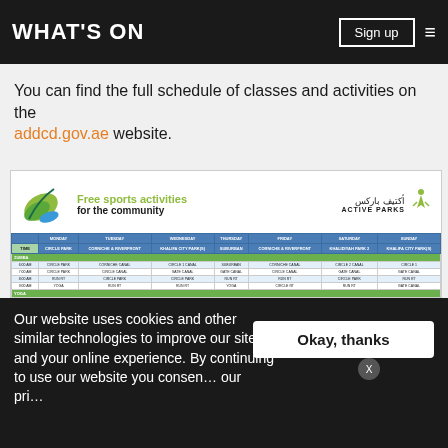WHAT'S ON
You can find the full schedule of classes and activities on the addcd.gov.ae website.
[Figure (infographic): Active Parks - Free sports activities for the community schedule table showing various sports activities at different parks across weekdays and weekends]
Our website uses cookies and other similar technologies to improve our site and your online experience. By continuing to use our website you consent our privacy...